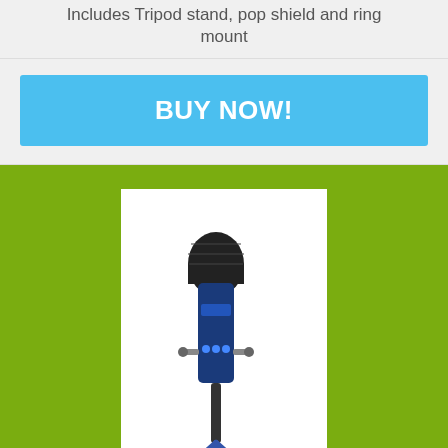Includes Tripod stand, pop shield and ring mount
BUY NOW!
[Figure (photo): Blue Yeti USB microphone in midnight blue color on tripod stand, displayed on white background]
Blue Yeti Microphone